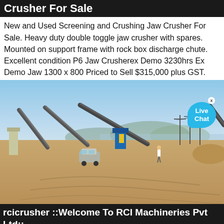Crusher For Sale
New and Used Screening and Crushing Jaw Crusher For Sale. Heavy duty double toggle jaw crusher with spares. Mounted on support frame with rock box discharge chute. Excellent condition P6 Jaw Crusherex Demo 3230hrs Ex Demo Jaw 1300 x 800 Priced to Sell $315,000 plus GST.
[Figure (photo): Outdoor photograph of a large crushing and screening plant at a mine/quarry site. Multiple conveyor belts and crushers are visible with a car and workers nearby. Sandy terrain with distant hills and blue sky.]
rcicrusher ::Welcome To RCI Machineries Pvt Ltd::
New and Used Screening and Crushing Jaw Crusher For Sale. Heavy duty double toggle jaw crusher with spares.